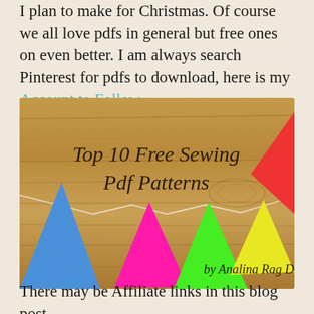I plan to make for Christmas. Of course we all love pdfs in general but free ones on even better. I am always search Pinterest for pdfs to download, here is my Account to Follow.
[Figure (illustration): Decorative banner image with a wood-grain background showing colorful bunting triangles (blue, magenta, green, yellow, red) strung on a line. Text reads 'Top 10 Free Sewing Pdf Patterns by Analina Rag Dolls' in cursive script.]
There may be Affiliate links in this blog post,